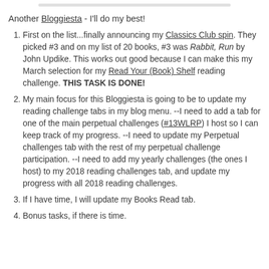Another Bloggiesta - I'll do my best!
First on the list...finally announcing my Classics Club spin. They picked #3 and on my list of 20 books, #3 was Rabbit, Run by John Updike. This works out good because I can make this my March selection for my Read Your (Book) Shelf reading challenge. THIS TASK IS DONE!
My main focus for this Bloggiesta is going to be to update my reading challenge tabs in my blog menu. --I need to add a tab for one of the main perpetual challenges (#13WLRP) I host so I can keep track of my progress. --I need to update my Perpetual challenges tab with the rest of my perpetual challenge participation. --I need to add my yearly challenges (the ones I host) to my 2018 reading challenges tab, and update my progress with all 2018 reading challenges.
If I have time, I will update my Books Read tab.
Bonus tasks, if there is time.